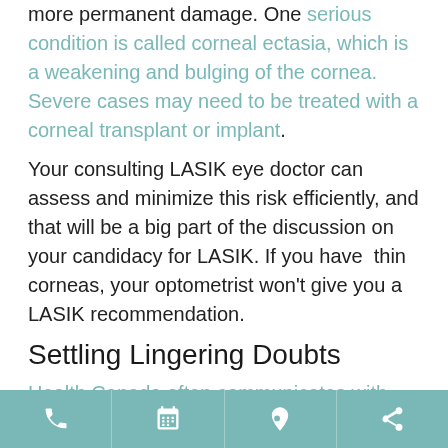more permanent damage. One serious condition is called corneal ectasia, which is a weakening and bulging of the cornea. Severe cases may need to be treated with a corneal transplant or implant. Your consulting LASIK eye doctor can assess and minimize this risk efficiently, and that will be a big part of the discussion on your candidacy for LASIK. If you have thin corneas, your optometrist won't give you a LASIK recommendation.
Settling Lingering Doubts
Health Canada often communicates with ophthalmologists about the risks of each medical
phone | calendar | location | share